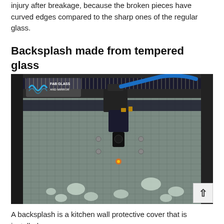injury after breakage, because the broken pieces have curved edges compared to the sharp ones of the regular glass.
Backsplash made from tempered glass
[Figure (photo): A laser cutting machine with a blue tube attached to a black cutting head, engraving or cutting glass with decorative patterns. A watermark reads 'FAB GLASS AND MIRROR' in the upper left corner.]
A backsplash is a kitchen wall protective cover that is installed